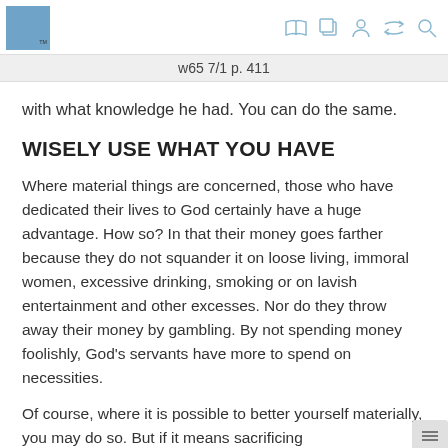w65 7/1 p. 411
with what knowledge he had. You can do the same.
WISELY USE WHAT YOU HAVE
Where material things are concerned, those who have dedicated their lives to God certainly have a huge advantage. How so? In that their money goes farther because they do not squander it on loose living, immoral women, excessive drinking, smoking or on lavish entertainment and other excesses. Nor do they throw away their money by gambling. By not spending money foolishly, God’s servants have more to spend on necessities.
Of course, where it is possible to better yourself materially, you may do so. But if it means sacrificing